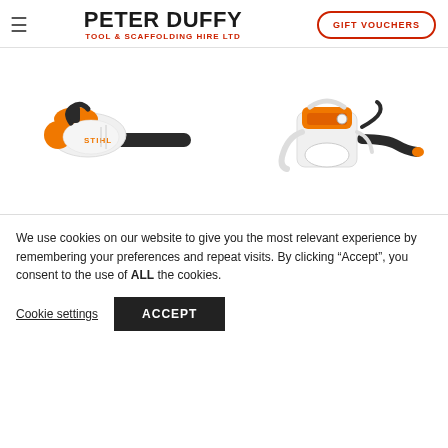PETER DUFFY TOOL & SCAFFOLDING HIRE LTD | GIFT VOUCHERS
[Figure (photo): Two leaf blowers/garden blowers side by side. Left: a white and orange STIHL battery-powered handheld blower. Right: a white and orange petrol-powered backpack blower with curved nozzle.]
We use cookies on our website to give you the most relevant experience by remembering your preferences and repeat visits. By clicking “Accept”, you consent to the use of ALL the cookies.
Cookie settings  ACCEPT